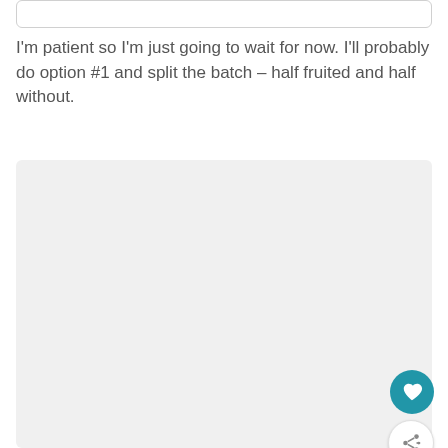I'm patient so I'm just going to wait for now. I'll probably do option #1 and split the batch – half fruited and half without.
[Figure (other): Large light gray placeholder image box with three small gray square dots at center bottom, a teal heart icon button and a white share icon button overlaid on the right side]